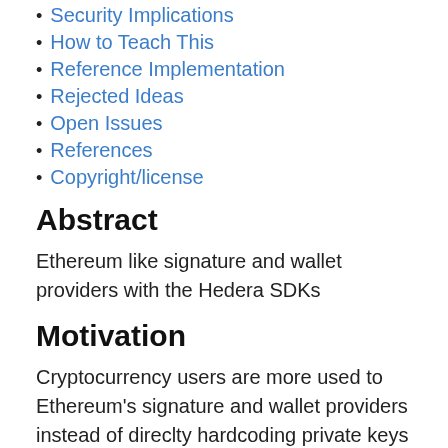Security Implications
How to Teach This
Reference Implementation
Rejected Ideas
Open Issues
References
Copyright/license
Abstract
Ethereum like signature and wallet providers with the Hedera SDKs
Motivation
Cryptocurrency users are more used to Ethereum's signature and wallet providers instead of direclty hardcoding private keys into their projects. Supporting third party signature and wallet provider would be better for security and user experience